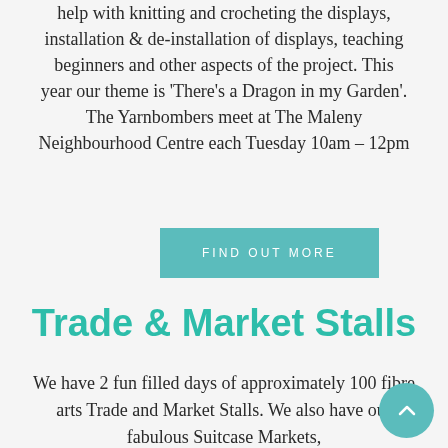help with knitting and crocheting the displays, installation & de-installation of displays, teaching beginners and other aspects of the project. This year our theme is 'There's a Dragon in my Garden'. The Yarnbombers meet at The Maleny Neighbourhood Centre each Tuesday 10am – 12pm
FIND OUT MORE
Trade & Market Stalls
We have 2 fun filled days of approximately 100 fibre arts Trade and Market Stalls. We also have our fabulous Suitcase Markets,